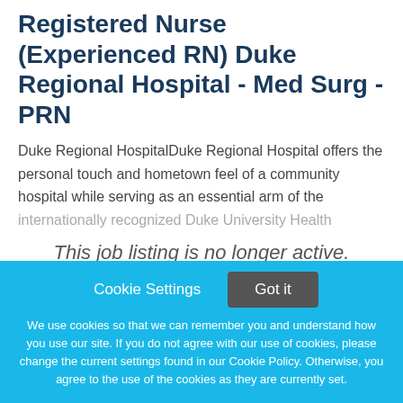Registered Nurse (Experienced RN) Duke Regional Hospital - Med Surg - PRN
Duke Regional HospitalDuke Regional Hospital offers the personal touch and hometown feel of a community hospital while serving as an essential arm of the internationally recognized Duke University Health
This job listing is no longer active.
Cookie Settings  Got it  We use cookies so that we can remember you and understand how you use our site. If you do not agree with our use of cookies, please change the current settings found in our Cookie Policy. Otherwise, you agree to the use of the cookies as they are currently set.